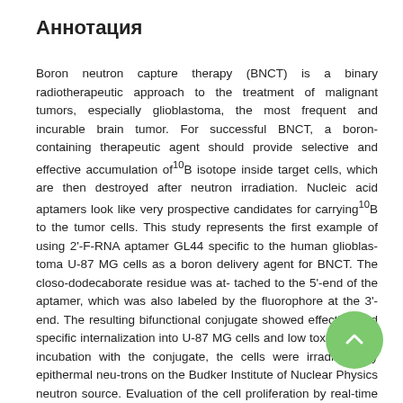Аннотация
Boron neutron capture therapy (BNCT) is a binary radiotherapeutic approach to the treatment of malignant tumors, especially glioblastoma, the most frequent and incurable brain tumor. For successful BNCT, a boron-containing therapeutic agent should provide selective and effective accumulation of¹⁰B isotope inside target cells, which are then destroyed after neutron irradiation. Nucleic acid aptamers look like very prospective candidates for carrying¹⁰B to the tumor cells. This study represents the first example of using 2'-F-RNA aptamer GL44 specific to the human glioblas-toma U-87 MG cells as a boron delivery agent for BNCT. The closo-dodecaborate residue was at-tached to the 5'-end of the aptamer, which was also labeled by the fluorophore at the 3'-end. The resulting bifunctional conjugate showed effective and specific internalization into U-87 MG cells and low toxicity. After incubation with the conjugate, the cells were irradiated by epithermal neu-trons on the Budker Institute of Nuclear Physics neutron source. Evaluation of the cell proliferation by real-time cell monitoring and the clonogenic test revealed that boron-loaded aptamer decreased specifically the viability of U-87 MG cells to the extent comparable to that of¹⁰B-boronophenylala-nine taken as a control. Therefore, we have demonstrated a proof of principle of employing ap-